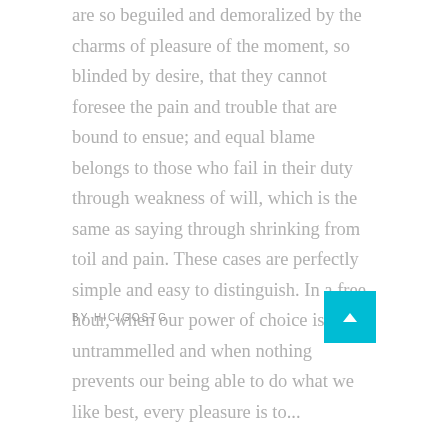are so beguiled and demoralized by the charms of pleasure of the moment, so blinded by desire, that they cannot foresee the pain and trouble that are bound to ensue; and equal blame belongs to those who fail in their duty through weakness of will, which is the same as saying through shrinking from toil and pain. These cases are perfectly simple and easy to distinguish. In a free hour, when our power of choice is untrammelled and when nothing prevents our being able to do what we like best, every pleasure is to...
BY HICIGOSTG